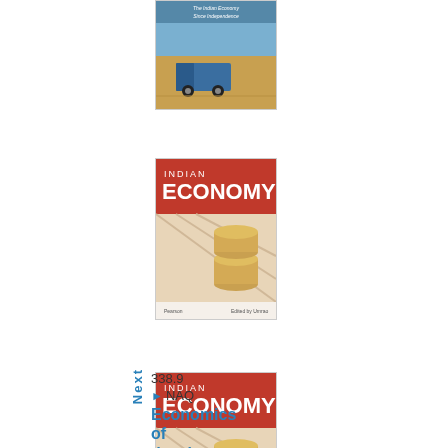[Figure (illustration): Book cover with truck/transport theme, blue and orange tones, appears to be an economics or transport textbook]
[Figure (illustration): Book cover titled 'Indian Economy' with red header and stacked coins image, Pearson publisher]
[Figure (illustration): Book cover titled 'Indian Economy' with red header and stacked coins image, Pearson publisher (duplicate/different edition)]
[Figure (illustration): Book cover titled 'Macroeconomics' with blue/teal background showing digital/financial imagery, Pearson publisher]
Next
338.9
NAQ
Economics of development